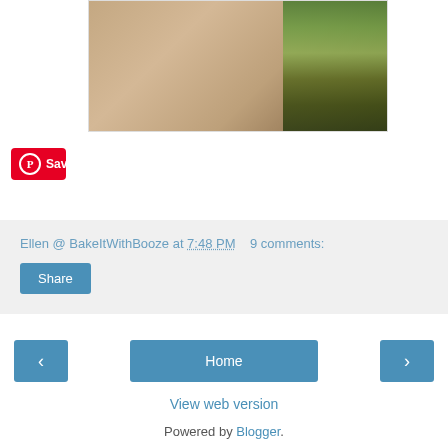[Figure (photo): Close-up photo of a frosted cake on a white plate with nuts around the base, and a colorful label/bottle in the background]
Save
Ellen @ BakeItWithBooze at 7:48 PM   9 comments:
Share
‹
Home
›
View web version
Powered by Blogger.